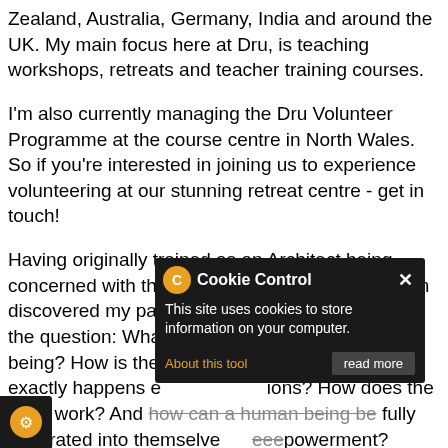Zealand, Australia, Germany, India and around the UK. My main focus here at Dru, is teaching workshops, retreats and teacher training courses.
I'm also currently managing the Dru Volunteer Programme at the course centre in North Wales. So if you're interested in joining us to experience volunteering at our stunning retreat centre - get in touch!
Having originally trained as an Architect being concerned with the construction of buildings I then discovered my passion in people, asking myself the question: What components make a human being? How is the physical body built? What exactly happens e... ions? How does the mind work? And how can a human being be fully integrated into themselves... powerment?
[Figure (screenshot): Cookie Control popup overlay with dark background. Header shows orange gear/cookie icon, 'Cookie Control' title in white bold, and X close button. Body text: 'This site uses cookies to store information on your computer.' Footer shows 'About this tool' link in orange and 'read more' button in grey.]
I was amazed by how intricate and detailed this is, Dru teach exactly that! Because Dru works gently with the construction of all the layers of a human being it